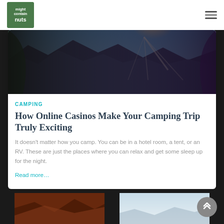might contain nuts — navigation header with logo and hamburger menu
[Figure (photo): View from inside a tent looking out at mountain peaks with bright sunlight and blue sky, green tent fabric visible on the edges]
CAMPING
How Online Casinos Make Your Camping Trip Truly Exciting
It doesn't matter how you camp. You can be in a hotel room, a tent, or an RV. These are just the places where you can relax and get some sleep up for the night.
Read more...
[Figure (photo): Partial view of two article thumbnail images at the bottom of the page, partially cut off — one showing reddish-brown rock formations and one showing a sky/landscape scene]